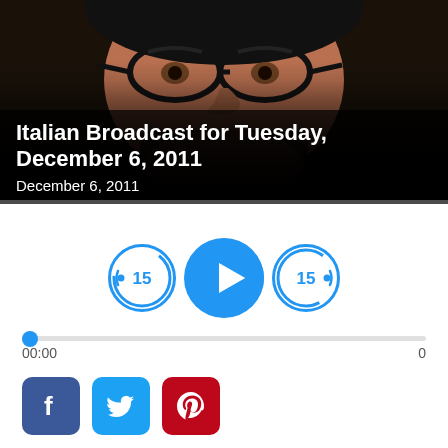[Figure (photo): Close-up photo of an older man with glasses, dark background, used as hero image for a podcast episode page]
Italian Broadcast for Tuesday, December 6, 2011
December 6, 2011
[Figure (screenshot): Audio player controls with rewind 15 seconds button, play button, and forward 15 seconds button, a progress bar at 00:00, and social share buttons (Facebook, Twitter, Pinterest) and action buttons (PODCAST, FREE MP3)]